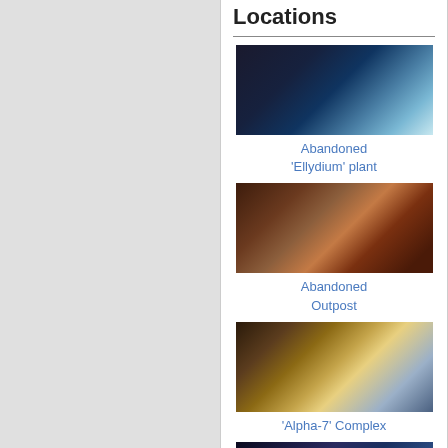Locations
[Figure (photo): Screenshot of Abandoned 'Ellydium' plant game location - dark sci-fi interior with blue lighting]
Abandoned 'Ellydium' plant
[Figure (photo): Screenshot of Abandoned Outpost game location - rocky terrain with orange/red tones]
Abandoned Outpost
[Figure (photo): Screenshot of 'Alpha-7' Complex game location - rocky terrain with blue spacecraft]
'Alpha-7' Complex
[Figure (photo): Screenshot of a fourth game location - dark space environment with green elements]